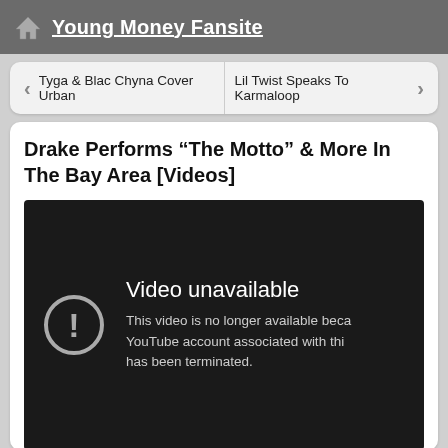Young Money Fansite
< Tyga & Blac Chyna Cover Urban
Lil Twist Speaks To Karmaloop >
Drake Performs “The Motto” & More In The Bay Area [Videos]
[Figure (screenshot): Embedded YouTube video player showing 'Video unavailable' error message. Text reads: 'Video unavailable. This video is no longer available because the YouTube account associated with this video has been terminated.']